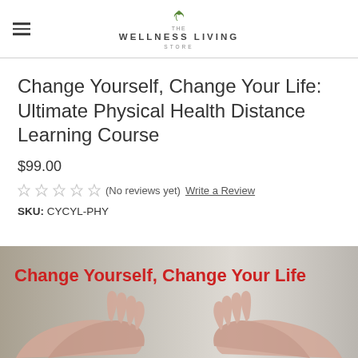THE WELLNESS LIVING STORE
Change Yourself, Change Your Life: Ultimate Physical Health Distance Learning Course
$99.00
(No reviews yet)  Write a Review
SKU: CYCYL-PHY
[Figure (photo): Promotional image with text 'Change Yourself, Change Your Life' in red on a muted background with hands reaching toward each other]